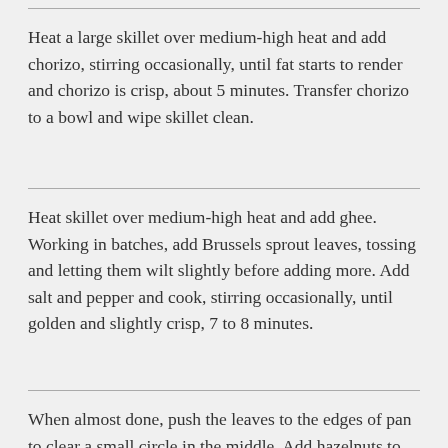Heat a large skillet over medium-high heat and add chorizo, stirring occasionally, until fat starts to render and chorizo is crisp, about 5 minutes. Transfer chorizo to a bowl and wipe skillet clean.
Heat skillet over medium-high heat and add ghee. Working in batches, add Brussels sprout leaves, tossing and letting them wilt slightly before adding more. Add salt and pepper and cook, stirring occasionally, until golden and slightly crisp, 7 to 8 minutes.
When almost done, push the leaves to the edges of pan to clear a small circle in the middle. Add hazelnuts to slightly toast, then add sliced garlic and cook for 45 seconds. Return chorizo to the pan along with 2 tablespoons of the vinaigrette. Toss to